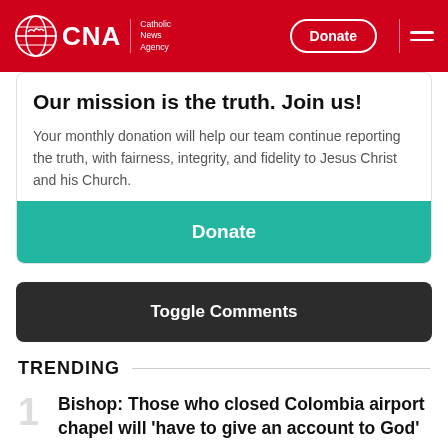CNA | Catholic News Agency
Our mission is the truth. Join us!
Your monthly donation will help our team continue reporting the truth, with fairness, integrity, and fidelity to Jesus Christ and his Church.
Donate
Toggle Comments
TRENDING
Bishop: Those who closed Colombia airport chapel will 'have to give an account to God'